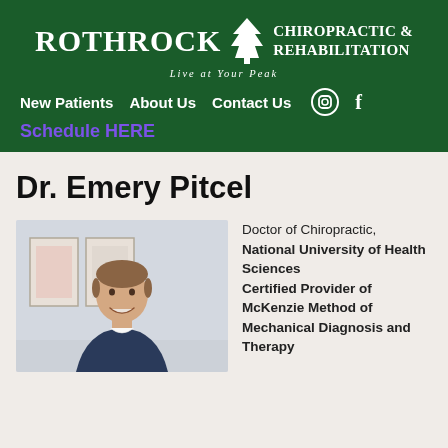[Figure (logo): Rothrock Chiropractic & Rehabilitation logo with tree icon and tagline 'Live at Your Peak']
New Patients   About Us   Contact Us   [Instagram] [Facebook]
Schedule HERE
Dr. Emery Pitcel
[Figure (photo): Photo of Dr. Emery Pitcel, a man in professional attire smiling, with framed artwork in the background]
Doctor of Chiropractic, National University of Health Sciences
Certified Provider of McKenzie Method of Mechanical Diagnosis and Therapy